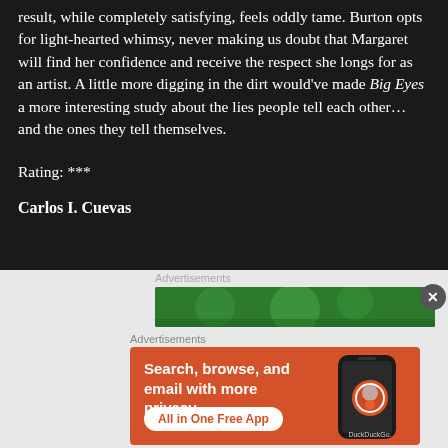result, while completely satisfying, feels oddly tame. Burton opts for light-hearted whimsy, never making us doubt that Margaret will find her confidence and receive the respect she longs for as an artist. A little more digging in the dirt would've made Big Eyes a more interesting study about the lies people tell each other... and the ones they tell themselves.
Rating: ***
Carlos I. Cuevas
Advertisements
[Figure (screenshot): Green advertisement banner (partially visible)]
Advertisements
[Figure (screenshot): DuckDuckGo advertisement: Search, browse, and email with more privacy. All in One Free App. Shows DuckDuckGo logo on a phone mockup.]